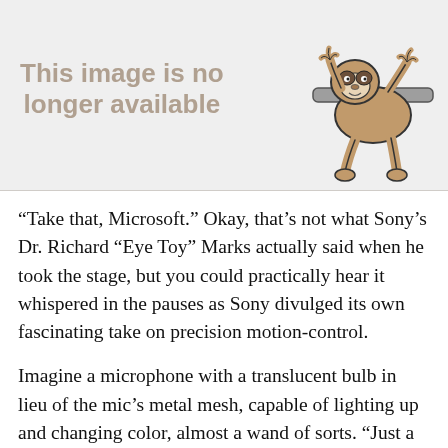[Figure (illustration): Image placeholder with text 'This image is no longer available' and a cartoon sloth illustration on the right side, on a light grey background.]
“Take that, Microsoft.” Okay, that’s not what Sony’s Dr. Richard “Eye Toy” Marks actually said when he took the stage, but you could practically hear it whispered in the pauses as Sony divulged its own fascinating take on precision motion-control.
Imagine a microphone with a translucent bulb in lieu of the mic’s metal mesh, capable of lighting up and changing color, almost a wand of sorts. “Just a prototype,” said Sony, and the final look will probably change, but you hold it like you’re